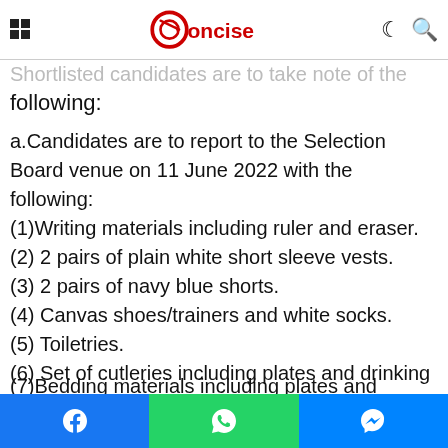Concise (logo with navigation icons)
candidates' list and other information. Shortlisted candidates are to take note of the following:
a.Candidates are to report to the Selection Board venue on 11 June 2022 with the following:
(1)Writing materials including ruler and eraser.
(2) 2 pairs of plain white short sleeve vests.
(3) 2 pairs of navy blue shorts.
(4) Canvas shoes/trainers and white socks.
(5) Toiletries.
(6) Set of cutleries including plates and drinking cups.
(7)Bedding materials including...
Facebook | WhatsApp | Messenger share buttons